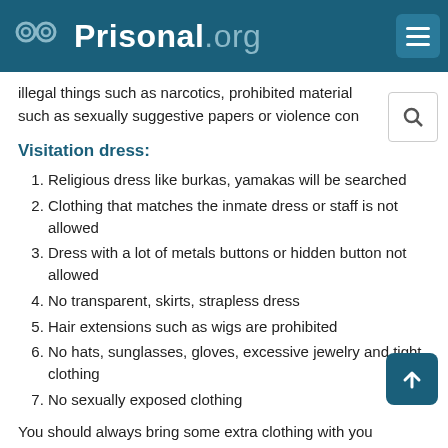Prisonal.org
illegal things such as narcotics, prohibited material such as sexually suggestive papers or violence con...
Visitation dress:
Religious dress like burkas, yamakas will be searched
Clothing that matches the inmate dress or staff is not allowed
Dress with a lot of metals buttons or hidden button not allowed
No transparent, skirts, strapless dress
Hair extensions such as wigs are prohibited
No hats, sunglasses, gloves, excessive jewelry and tight clothing
No sexually exposed clothing
You should always bring some extra clothing with you